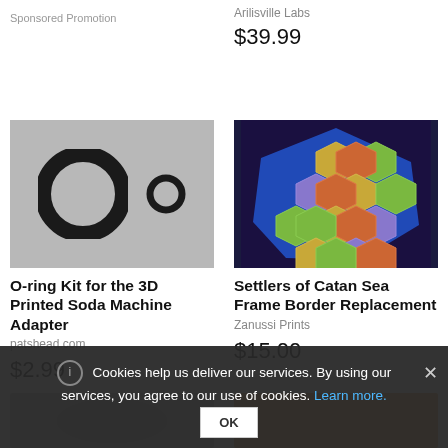Sponsored Promotion
Arilisville Labs
$39.99
[Figure (photo): Two black O-rings on a gray background, one large and one small]
[Figure (photo): Settlers of Catan sea frame border replacement in blue hexagonal shape with colorful hex tiles on a dark table]
O-ring Kit for the 3D Printed Soda Machine Adapter
patshead.com
$2.99
Settlers of Catan Sea Frame Border Replacement
Zanussi Prints
$15.00
Cookies help us deliver our services. By using our services, you agree to our use of cookies. Learn more.